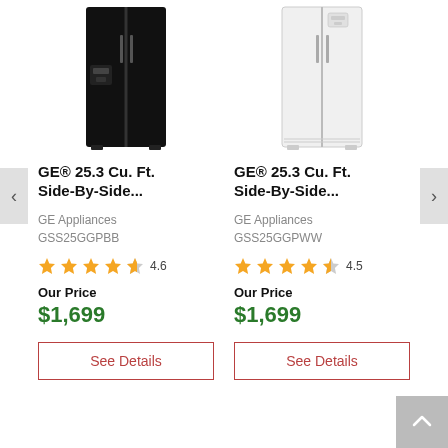[Figure (photo): Black GE side-by-side refrigerator product image]
GE® 25.3 Cu. Ft. Side-By-Side...
GE Appliances
GSS25GGPBB
[Figure (other): Star rating 4.6 out of 5 stars]
Our Price
$1,699
See Details
[Figure (photo): White GE side-by-side refrigerator product image]
GE® 25.3 Cu. Ft. Side-By-Side...
GE Appliances
GSS25GGPWW
[Figure (other): Star rating 4.5 out of 5 stars]
Our Price
$1,699
See Details